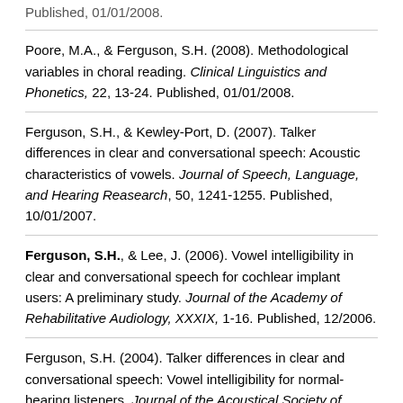Published, 01/01/2008.
Poore, M.A., & Ferguson, S.H. (2008). Methodological variables in choral reading. Clinical Linguistics and Phonetics, 22, 13-24. Published, 01/01/2008.
Ferguson, S.H., & Kewley-Port, D. (2007). Talker differences in clear and conversational speech: Acoustic characteristics of vowels. Journal of Speech, Language, and Hearing Reasearch, 50, 1241-1255. Published, 10/01/2007.
Ferguson, S.H., & Lee, J. (2006). Vowel intelligibility in clear and conversational speech for cochlear implant users: A preliminary study. Journal of the Academy of Rehabilitative Audiology, XXXIX, 1-16. Published, 12/2006.
Ferguson, S.H. (2004). Talker differences in clear and conversational speech: Vowel intelligibility for normal-hearing listeners. Journal of the Acoustical Society of